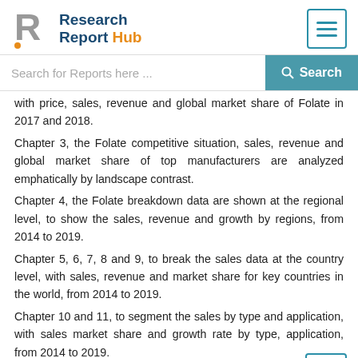Research Report Hub
with price, sales, revenue and global market share of Folate in 2017 and 2018.
Chapter 3, the Folate competitive situation, sales, revenue and global market share of top manufacturers are analyzed emphatically by landscape contrast.
Chapter 4, the Folate breakdown data are shown at the regional level, to show the sales, revenue and growth by regions, from 2014 to 2019.
Chapter 5, 6, 7, 8 and 9, to break the sales data at the country level, with sales, revenue and market share for key countries in the world, from 2014 to 2019.
Chapter 10 and 11, to segment the sales by type and application, with sales market share and growth rate by type, application, from 2014 to 2019.
Chapter 12, Folate market forecast, by regions, type and application, with sales and revenue, from 2019 to 2024.